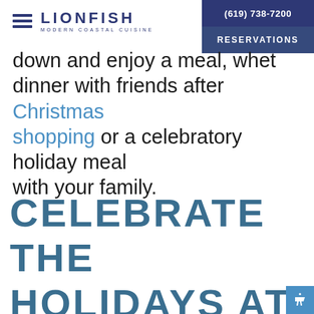LIONFISH | MODERN COASTAL CUISINE | (619) 738-7200 | RESERVATIONS
down and enjoy a meal, whet dinner with friends after Christmas shopping or a celebratory holiday meal with your family.
CELEBRATE THE HOLIDAYS AT LIONFISH